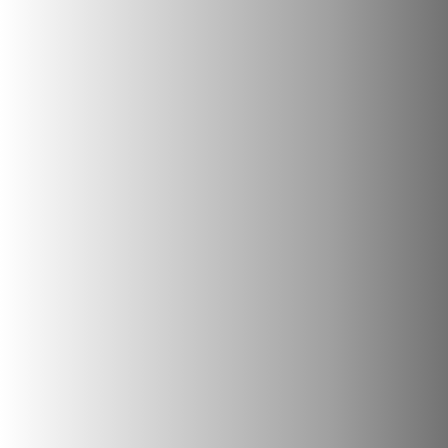- Da Capo III
- Da Capo Plus Com
- Da Capo
- Darling in the Fran
- Date A Live
- Day Break Illusion
- Disgaea
- Evangelion Rebuild
- Fairy Tail
- Fate/Apocrypha
- Fate/Grand Order Demonic Front: Bab
- Fate/Zero
- Fate/stay night
- Fate/stay night Un Works
- Fujimi Fantasia Bu
- Gargantia
- Girl Friend Beta
- Goblin Slayer
- Godzilla
- Guilty Crown
- Gurren Lagann
- Haruhi
- Hatsune Miku Project (Vocaloid)
- Hololive Production Gen